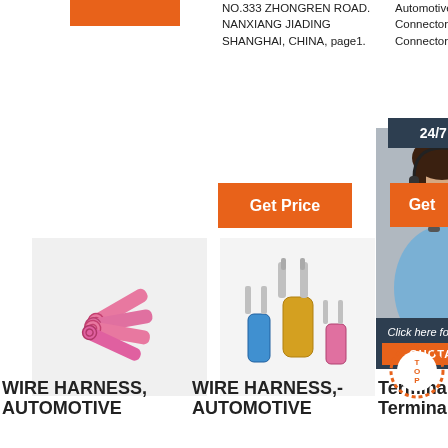[Figure (other): Orange rectangle logo/banner at top left]
NO.333 ZHONGREN ROAD. NANXIANG JIADING SHANGHAI, CHINA, page1.
Automotive 21 Pin Female Connector Buchse Connector and so on.
24/7 Online
Get Price
Get
[Figure (photo): Woman with headset smiling - customer service representative]
Click here for free chat !
QUOTATION
[Figure (photo): Pink heat shrink ring terminal connectors]
[Figure (photo): Multicolor spade fork wire terminals - blue, gold, pink]
[Figure (photo): Blue wire connector terminal]
WIRE HARNESS, AUTOMOTIVE
WIRE HARNESS,- AUTOMOTIVE
Terminals,- China Terminal,
[Figure (other): TOP badge - circular dotted orange/red badge with TOP text]